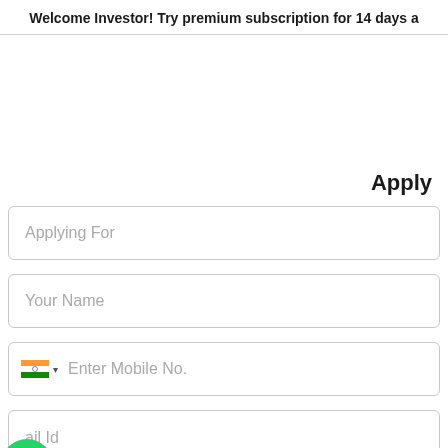Welcome Investor! Try premium subscription for 14 days a
Apply
Applying For
Your Name
Enter Mobile No.
ail Id